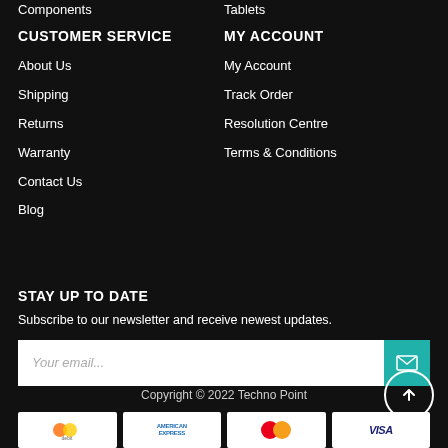Components
Tablets
CUSTOMER SERVICE
MY ACCOUNT
About Us
My Account
Shipping
Track Order
Returns
Resolution Centre
Warranty
Terms & Conditions
Contact Us
Blog
STAY UP TO DATE
Subscribe to our newsletter and receive newest updates.
Copyright © 2022 Techno Point
[Figure (other): Payment method icons: unknown card, American Express, Mastercard, Visa]